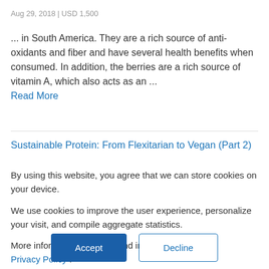Aug 29, 2018 | USD 1,500
... in South America. They are a rich source of anti-oxidants and fiber and have several health benefits when consumed. In addition, the berries are a rich source of vitamin A, which also acts as an ... Read More
Sustainable Protein: From Flexitarian to Vegan (Part 2)
By using this website, you agree that we can store cookies on your device.

We use cookies to improve the user experience, personalize your visit, and compile aggregate statistics.

More information can be found in our Privacy Policy .